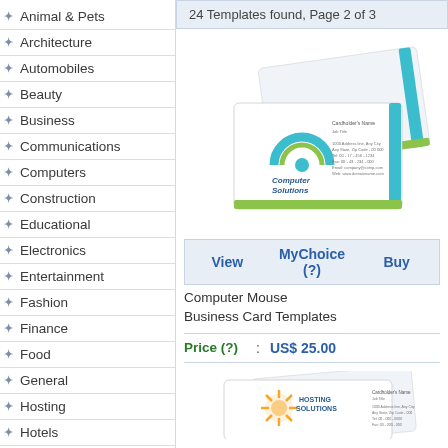Animal & Pets
Architecture
Automobiles
Beauty
Business
Communications
Computers
Construction
Educational
Electronics
Entertainment
Fashion
Finance
Food
General
Hosting
Hotels
Industrial
24 Templates found, Page 2 of 3
[Figure (photo): Business card template for Computer Mouse - shows two overlapping white business cards with Computer Solutions branding, teal and green accents, circular logo]
View   MyChoice (?)   Buy
Computer Mouse Business Card Templates
Price (?) : US$ 25.00
[Figure (photo): Partial view of a second business card template for Hosting Solutions - white card with orange starburst logo]